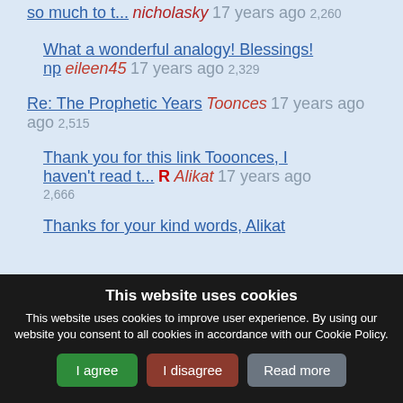so much to t... nicholasky 17 years ago 2,260
What a wonderful analogy! Blessings! np eileen45 17 years ago 2,329
Re: The Prophetic Years Toonces 17 years ago 2,515
Thank you for this link Tooonces, I haven't read t... R Alikat 17 years ago 2,666
Thanks for your kind words, Alikat
This website uses cookies
This website uses cookies to improve user experience. By using our website you consent to all cookies in accordance with our Cookie Policy.
I agree | I disagree | Read more